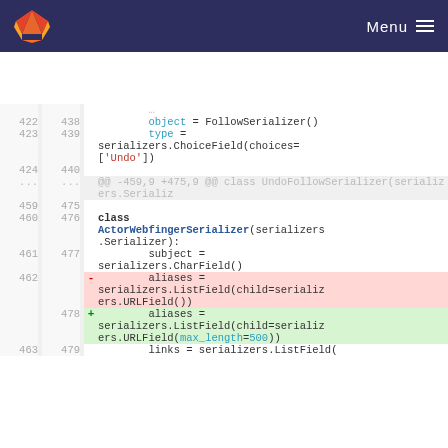GitLab Menu
[Figure (screenshot): GitLab code diff view showing changes to serializers.py. Lines 422-463 old, 438-479 new. Showing additions and deletions to ActorWebfingerSerializer and related code.]